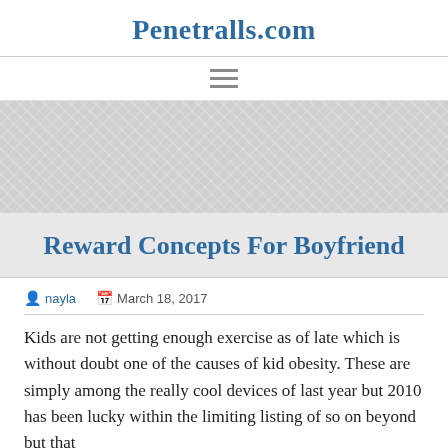Penetralls.com
[Figure (other): Hamburger navigation menu icon (three horizontal lines)]
[Figure (photo): Hero banner image with light grey textured background]
Reward Concepts For Boyfriend
nayla   March 18, 2017
Kids are not getting enough exercise as of late which is without doubt one of the causes of kid obesity. These are simply among the really cool devices of last year but 2010 has been lucky within the limiting listing of so on beyond but that...